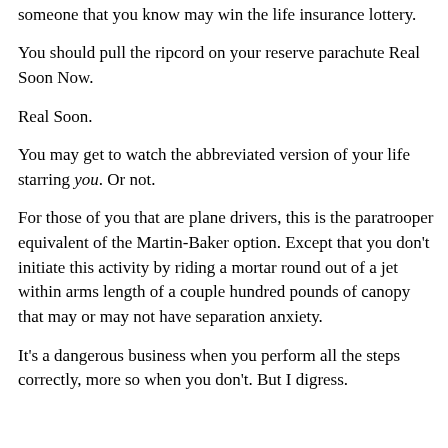situation. Nothing you ask for at Christmas. Once again, someone that you know may win the life insurance lottery.
You should pull the ripcord on your reserve parachute Real Soon Now.
Real Soon.
You may get to watch the abbreviated version of your life starring you. Or not.
For those of you that are plane drivers, this is the paratrooper equivalent of the Martin-Baker option. Except that you don't initiate this activity by riding a mortar round out of a jet within arms length of a couple hundred pounds of canopy that may or may not have separation anxiety.
It's a dangerous business when you perform all the steps correctly, more so when you don't. But I digress.